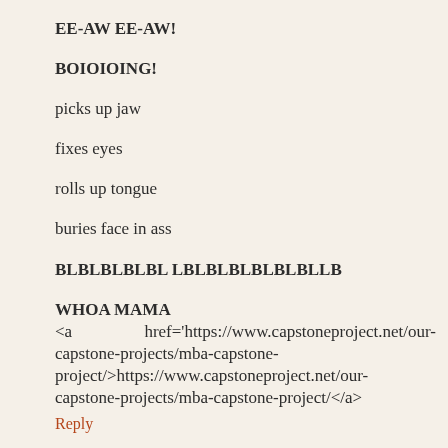EE-AW EE-AW!
BOIOIOING!
picks up jaw
fixes eyes
rolls up tongue
buries face in ass
BLBLBLBLBL LBLBLBLBLBLBLLB
WHOA MAMA
<a                 href='https://www.capstoneproject.net/our-capstone-projects/mba-capstone-project/>https://www.capstoneproject.net/our-capstone-projects/mba-capstone-project/</a>
Reply